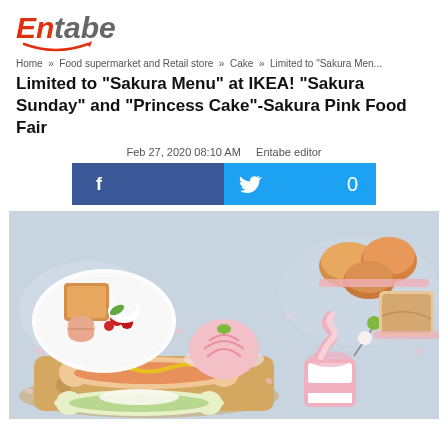[Figure (logo): Entabe logo with red 'En' and gray 'tabe' italic text and a smile curve underneath]
Home » Food supermarket and Retail store » Cake » Limited to "Sakura Men..."
Limited to "Sakura Menu" at IKEA! "Sakura Sunday" and "Princess Cake"-Sakura Pink Food Fair
Feb 27, 2020 08:10 AM   Entabe editor
[Figure (other): Facebook and Twitter social share buttons]
[Figure (photo): Photo of IKEA Sakura menu food items including pink soft serve ice cream, sakura mont blanc, hot dogs with mustard, scones, rolls, and other pink-themed dishes arranged on a table]